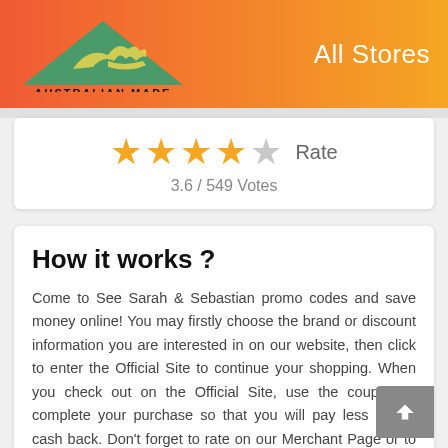Australian Made | All Stores
[Figure (logo): Australian Made logo — green triangle with yellow kangaroo, text AUSTRALIAN MADE below]
All Stores
3.6 / 549 Votes
How it works ?
Come to See Sarah & Sebastian promo codes and save money online! You may firstly choose the brand or discount information you are interested in on our website, then click to enter the Official Site to continue your shopping. When you check out on the Official Site, use the coupon to complete your purchase so that you will pay less or get cash back. Don't forget to rate on our Merchant Page or to give us Feedback: Whether the coupons and discount information that we have collected at codepromau.com are useful to you :)